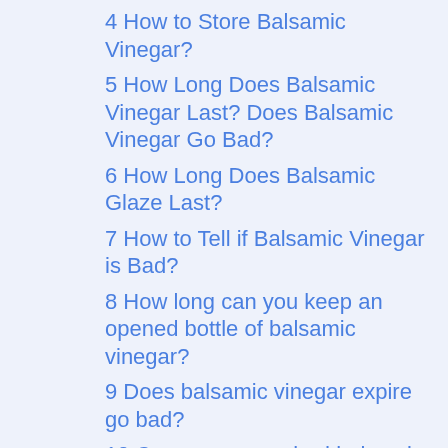4  How to Store Balsamic Vinegar?
5  How Long Does Balsamic Vinegar Last? Does Balsamic Vinegar Go Bad?
6  How Long Does Balsamic Glaze Last?
7  How to Tell if Balsamic Vinegar is Bad?
8  How long can you keep an opened bottle of balsamic vinegar?
9  Does balsamic vinegar expire go bad?
10  Can we use expired balsamic vinegar?
11  Does an open bottle of balsamic vinegar go bad?